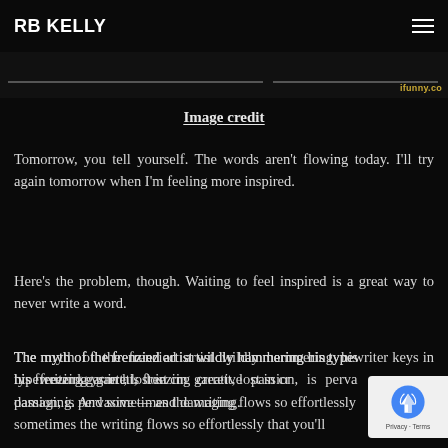RB KELLY
[Figure (screenshot): Cropped image strip with ifunny.co watermark in gold text at bottom right]
Image credit
Tomorrow, you tell yourself. The words aren't flowing today. I'll try again tomorrow when I'm feeling more inspired.
Here's the problem, though. Waiting to feel inspired is a great way to never write a word.
The myth of the frenzied artist wildly hammering his typewriter keys in his freezing garrett, lost in creative passion, is pervasive — and damaging. And sometimes the writing flows so effortlessly that you'll